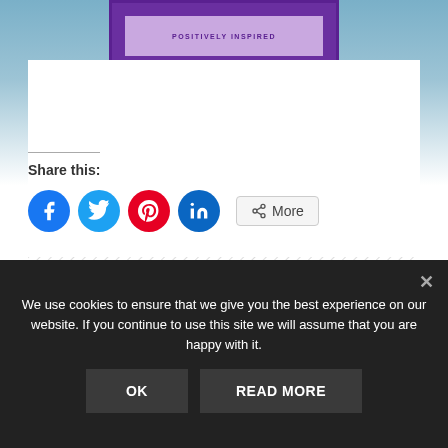[Figure (illustration): Book cover thumbnail showing purple cover with 'POSITIVELY INSPIRED' text on a light purple banner]
Share this:
[Figure (infographic): Social share buttons: Facebook (blue circle), Twitter (light blue circle), Pinterest (red circle), LinkedIn (dark blue circle), and a More button with share icon]
We use cookies to ensure that we give you the best experience on our website. If you continue to use this site we will assume that you are happy with it.
OK
READ MORE